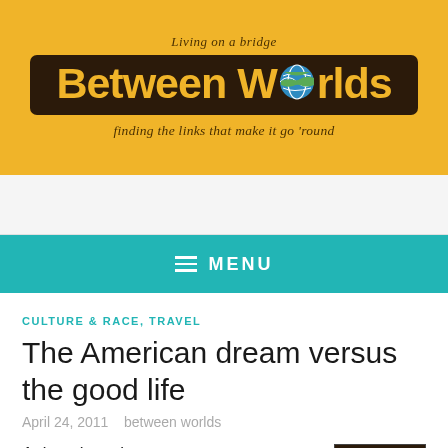[Figure (logo): Between Worlds blog header with tagline 'Living on a bridge' above and 'finding the links that make it go round' below, on a golden yellow background with dark brown logo box]
MENU
CULTURE & RACE, TRAVEL
The American dream versus the good life
April 24, 2011   between worlds
A deep bass beat